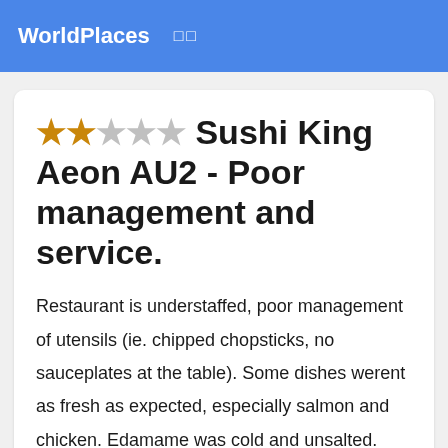WorldPlaces  □□
★★☆☆☆ Sushi King Aeon AU2 - Poor management and service.
Restaurant is understaffed, poor management of utensils (ie. chipped chopsticks, no sauceplates at the table). Some dishes werent as fresh as expected, especially salmon and chicken. Edamame was cold and unsalted. Some dishes didnt even mak... Read more